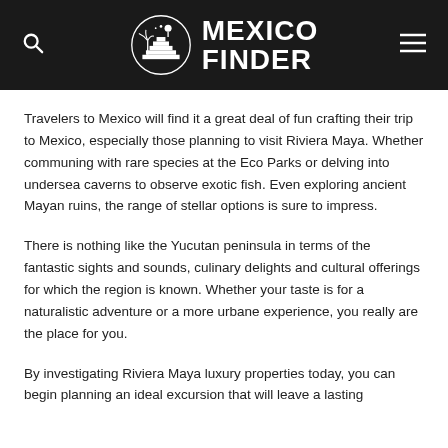MEXICO FINDER
Travelers to Mexico will find it a great deal of fun crafting their trip to Mexico, especially those planning to visit Riviera Maya. Whether communing with rare species at the Eco Parks or delving into undersea caverns to observe exotic fish. Even exploring ancient Mayan ruins, the range of stellar options is sure to impress.
There is nothing like the Yucutan peninsula in terms of the fantastic sights and sounds, culinary delights and cultural offerings for which the region is known. Whether your taste is for a naturalistic adventure or a more urbane experience, you really are the place for you.
By investigating Riviera Maya luxury properties today, you can begin planning an ideal excursion that will leave a lasting